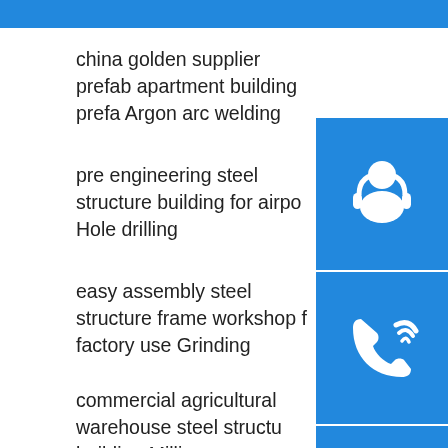china golden supplier prefab apartment building prefa Argon arc welding
pre engineering steel structure building for airport Hole drilling
easy assembly steel structure frame workshop factory use Grinding
commercial agricultural warehouse steel structure building Milling
pre fabricated security ready made steel structure Strip surfacing welding
steel structure roof Submerged arc welding